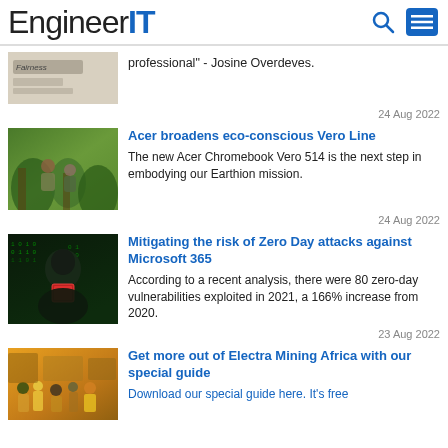EngineerIT
professional" - Josine Overdeves.
24 Aug 2022
Acer broadens eco-conscious Vero Line
The new Acer Chromebook Vero 514 is the next step in embodying our Earthion mission.
24 Aug 2022
Mitigating the risk of Zero Day attacks against Microsoft 365
According to a recent analysis, there were 80 zero-day vulnerabilities exploited in 2021, a 166% increase from 2020.
23 Aug 2022
Get more out of Electra Mining Africa with our special guide
Download our special guide here. It's free